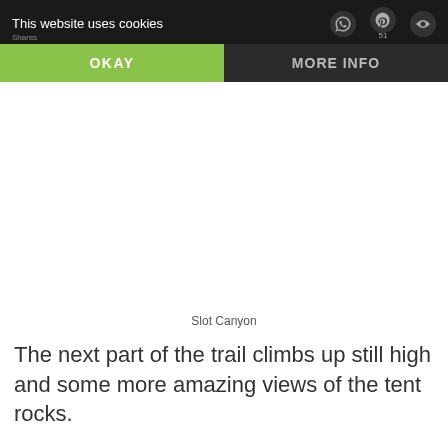This website uses cookies
OKAY
MORE INFO
[Figure (photo): Slot Canyon photo placeholder — white/blank area representing an image of a slot canyon]
Slot Canyon
The next part of the trail climbs up still high and some more amazing views of the tent rocks.